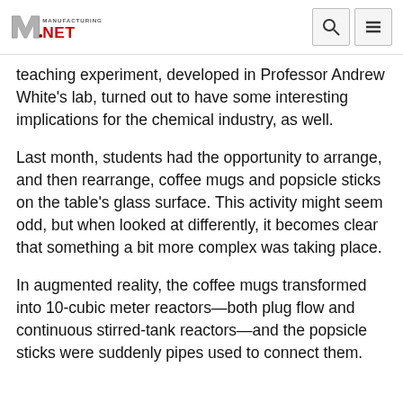Manufacturing.net
teaching experiment, developed in Professor Andrew White’s lab, turned out to have some interesting implications for the chemical industry, as well.
Last month, students had the opportunity to arrange, and then rearrange, coffee mugs and popsicle sticks on the table’s glass surface. This activity might seem odd, but when looked at differently, it becomes clear that something a bit more complex was taking place.
In augmented reality, the coffee mugs transformed into 10-cubic meter reactors—both plug flow and continuous stirred-tank reactors—and the popsicle sticks were suddenly pipes used to connect them.